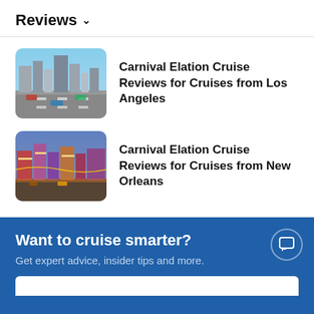Reviews ∨
Carnival Elation Cruise Reviews for Cruises from Los Angeles
Carnival Elation Cruise Reviews for Cruises from New Orleans
Show more ∨
Want to cruise smarter?
Get expert advice, insider tips and more.